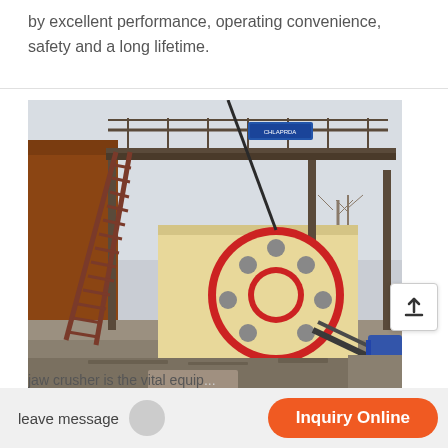by excellent performance, operating convenience, safety and a long lifetime.
[Figure (photo): Industrial jaw crusher machine mounted on a steel platform with staircase access, large circular flywheel visible, outdoor industrial setting]
Coal Crusher And Scr...
jaw crusher is the vital equip...
leave message
Inquiry Online